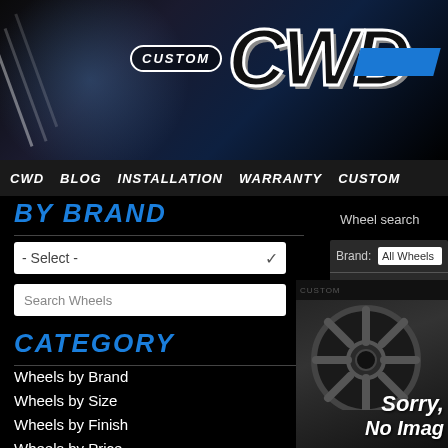[Figure (logo): Custom CWD brand logo with large stylized letters on dark background with blue accent stripe and light ray effects]
CWD BLOG INSTALLATION WARRANTY CUSTOM
BY BRAND
- Select -
Search Wheels
CATEGORY
Wheels by Brand
Wheels by Size
Wheels by Finish
Wheels by Price
Wheels by Vehicle
Tires by Brand
Wheel search
Brand: All Wheels
Finish: All Finishes
Size: All Diamete
Search W
[Figure (photo): Wheel product image with Sorry, No Image text overlay on dark background]